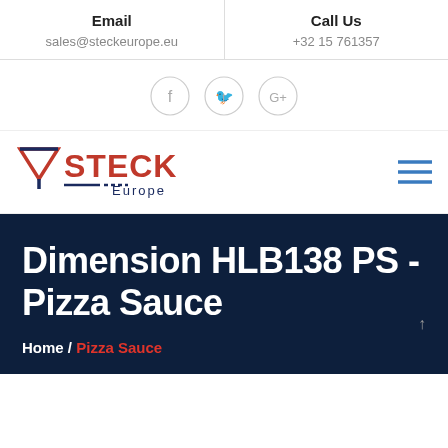Email | sales@steckeurope.eu | Call Us | +32 15 761357
[Figure (other): Social media icon buttons: Facebook, Twitter, Google+]
[Figure (logo): Steck Europe logo with red and dark blue text and funnel/triangle icon]
Dimension HLB138 PS - Pizza Sauce
Home / Pizza Sauce